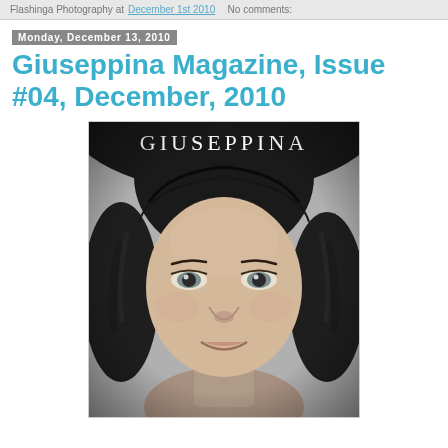Flashinga Photography at December 1st 2010   No comments:
Monday, December 13, 2010
Giuseppina Magazine, Issue #04, December, 2010
[Figure (photo): Black and white magazine cover of Giuseppina magazine showing a close-up portrait of a young girl with curly dark hair looking at the camera with a slight smile. The word GIUSEPPINA appears in white serif text at the top of the cover.]